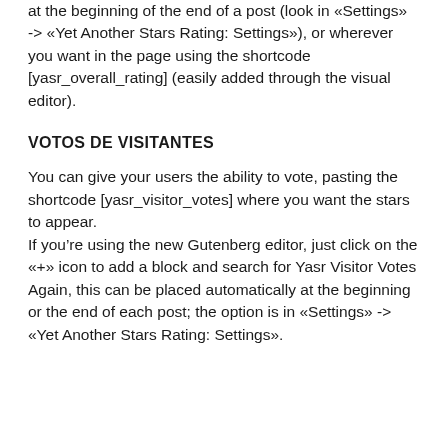at the beginning of the end of a post (look in «Settings» -> «Yet Another Stars Rating: Settings»), or wherever you want in the page using the shortcode [yasr_overall_rating] (easily added through the visual editor).
VOTOS DE VISITANTES
You can give your users the ability to vote, pasting the shortcode [yasr_visitor_votes] where you want the stars to appear.
If you're using the new Gutenberg editor, just click on the «+» icon to add a block and search for Yasr Visitor Votes
Again, this can be placed automatically at the beginning or the end of each post; the option is in «Settings» -> «Yet Another Stars Rating: Settings».